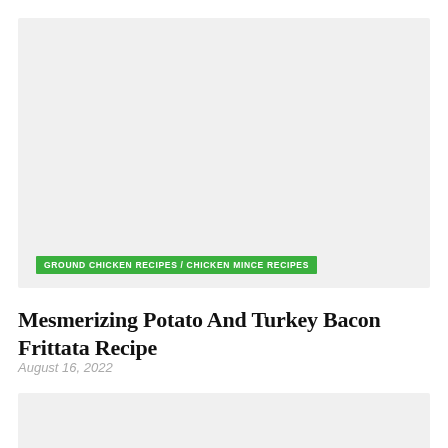[Figure (photo): Top image placeholder — light gray rectangle representing a photo]
GROUND CHICKEN RECIPES / CHICKEN MINCE RECIPES
Mesmerizing Potato And Turkey Bacon Frittata Recipe
August 16, 2022
[Figure (photo): Bottom image placeholder — light gray rectangle representing a photo]